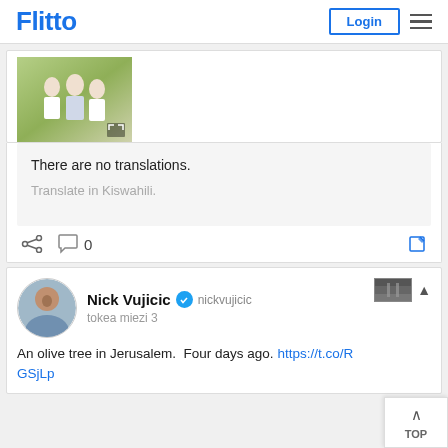Flitto   Login
[Figure (photo): Photo of children posing outdoors in a field with white flowers]
There are no translations.
Translate in Kiswahili.
0
Nick Vujicic  nickvujicic
tokea miezi 3
An olive tree in Jerusalem.  Four days ago. https://t.co/RGSjLp